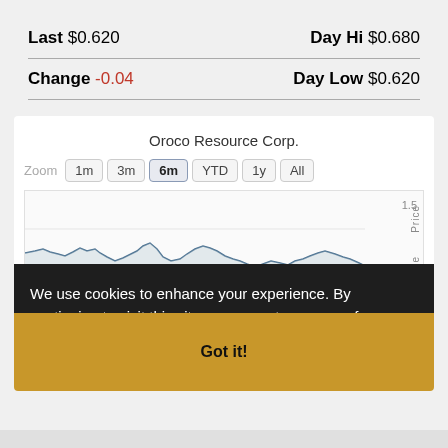Last $0.620 | Day Hi $0.680
Change -0.04 | Day Low $0.620
Oroco Resource Corp.
Zoom 1m 3m 6m YTD 1y All
[Figure (line-chart): 6-month price chart with price axis showing 1.5 label, partially obscured by cookie consent overlay]
We use cookies to enhance your experience. By continuing to visit this site you agree to our use of cookies. Learn more
Got it!